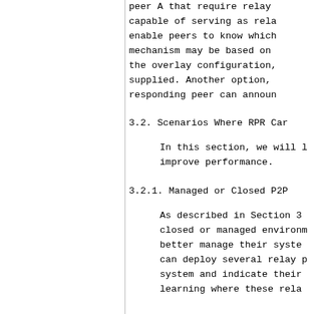peer A that require relay capable of serving as rela enable peers to know which mechanism may be based on the overlay configuration, supplied. Another option, responding peer can announ
3.2. Scenarios Where RPR Car
In this section, we will improve performance.
3.2.1. Managed or Closed P2P
As described in Section 3 closed or managed environm better manage their syste can deploy several relay p system and indicate their learning where these rela